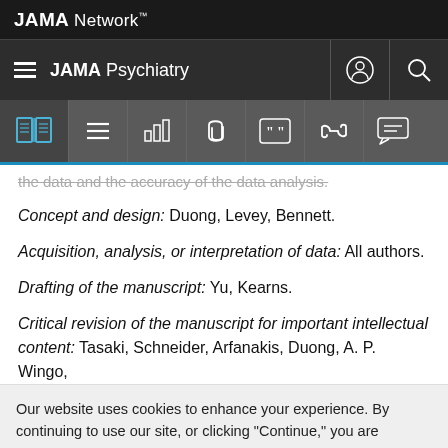JAMA Network™
JAMA Psychiatry
the data and the accuracy of the data analysis.
Concept and design: Duong, Levey, Bennett.
Acquisition, analysis, or interpretation of data: All authors.
Drafting of the manuscript: Yu, Kearns.
Critical revision of the manuscript for important intellectual content: Tasaki, Schneider, Arfanakis, Duong, A. P. Wingo,
Our website uses cookies to enhance your experience. By continuing to use our site, or clicking "Continue," you are agreeing to our Cookie Policy | Continue